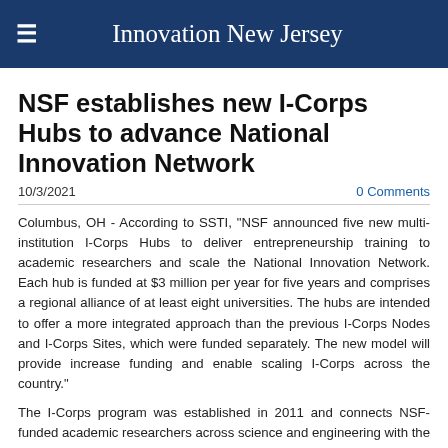Innovation New Jersey
NSF establishes new I-Corps Hubs to advance National Innovation Network
10/3/2021   0 Comments
Columbus, OH - According to SSTI, "NSF announced five new multi-institution I-Corps Hubs to deliver entrepreneurship training to academic researchers and scale the National Innovation Network. Each hub is funded at $3 million per year for five years and comprises a regional alliance of at least eight universities. The hubs are intended to offer a more integrated approach than the previous I-Corps Nodes and I-Corps Sites, which were funded separately. The new model will provide increase funding and enable scaling I-Corps across the country."
The I-Corps program was established in 2011 and connects NSF-funded academic researchers across science and engineering with the technological, entrepreneurial, and business communities to help create a National Innovation Network. NSF plans to issue a new I-Corps Hubs solicitation in fall 2021 to continue to expand opportunities for